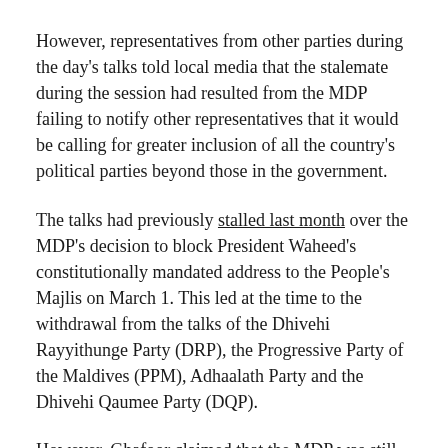However, representatives from other parties during the day's talks told local media that the stalemate during the session had resulted from the MDP failing to notify other representatives that it would be calling for greater inclusion of all the country's political parties beyond those in the government.
The talks had previously stalled last month over the MDP's decision to block President Waheed's constitutionally mandated address to the People's Majlis on March 1. This led at the time to the withdrawal from the talks of the Dhivehi Rayyithunge Party (DRP), the Progressive Party of the Maldives (PPM), Adhaalath Party and the Dhivehi Qaumee Party (DQP).
However, Ghafoor claimed that the MDP was still committed to using the talks to outline a program of